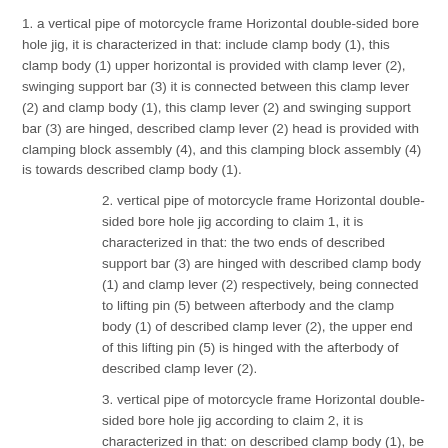1. a vertical pipe of motorcycle frame Horizontal double-sided bore hole jig, it is characterized in that: include clamp body (1), this clamp body (1) upper horizontal is provided with clamp lever (2), swinging support bar (3) it is connected between this clamp lever (2) and clamp body (1), this clamp lever (2) and swinging support bar (3) are hinged, described clamp lever (2) head is provided with clamping block assembly (4), and this clamping block assembly (4) is towards described clamp body (1).
2. vertical pipe of motorcycle frame Horizontal double-sided bore hole jig according to claim 1, it is characterized in that: the two ends of described support bar (3) are hinged with described clamp body (1) and clamp lever (2) respectively, being connected to lifting pin (5) between afterbody and the clamp body (1) of described clamp lever (2), the upper end of this lifting pin (5) is hinged with the afterbody of described clamp lever (2).
3. vertical pipe of motorcycle frame Horizontal double-sided bore hole jig according to claim 2, it is characterized in that: on described clamp body (1), be provided with cylinder (6), the cylinder barrel of this cylinder (6) is connected with described clamp body (1), and the piston